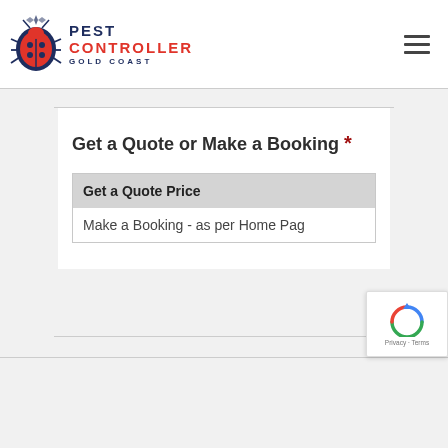[Figure (logo): Pest Controller Gold Coast logo with red beetle icon and navy/red text]
Get a Quote or Make a Booking *
Get a Quote Price
Make a Booking - as per Home Pag
[Figure (logo): Google reCAPTCHA badge with spinning arrows icon, Privacy and Terms links]